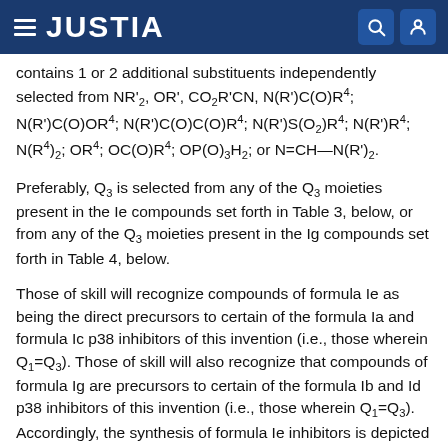JUSTIA
contains 1 or 2 additional substituents independently selected from NR'2, OR', CO2R'CN, N(R')C(O)R4; N(R')C(O)OR4; N(R')C(O)C(O)R4; N(R')S(O2)R4; N(R')R4; N(R4)2; OR4; OC(O)R4; OP(O)3H2; or N=CH—N(R')2.
Preferably, Q3 is selected from any of the Q3 moieties present in the Ie compounds set forth in Table 3, below, or from any of the Q3 moieties present in the Ig compounds set forth in Table 4, below.
Those of skill will recognize compounds of formula Ie as being the direct precursors to certain of the formula Ia and formula Ic p38 inhibitors of this invention (i.e., those wherein Q1=Q3). Those of skill will also recognize that compounds of formula Ig are precursors to certain of the formula Ib and Id p38 inhibitors of this invention (i.e., those wherein Q1=Q3). Accordingly, the synthesis of formula Ie inhibitors is depicted above in Schemes 1 and